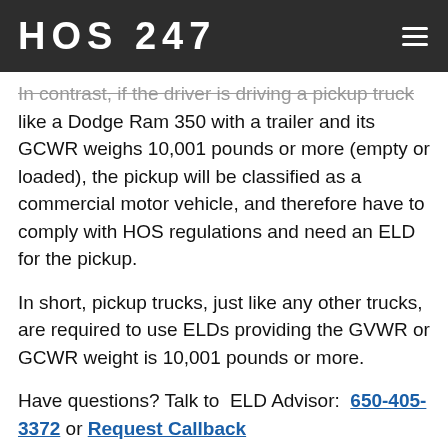HOS 247
In contrast, if the driver is driving a pickup truck like a Dodge Ram 350 with a trailer and its GCWR weighs 10,001 pounds or more (empty or loaded), the pickup will be classified as a commercial motor vehicle, and therefore have to comply with HOS regulations and need an ELD for the pickup.
In short, pickup trucks, just like any other trucks, are required to use ELDs providing the GVWR or GCWR weight is 10,001 pounds or more.
Have questions? Talk to ELD Advisor: 650-405-3372 or Request Callback